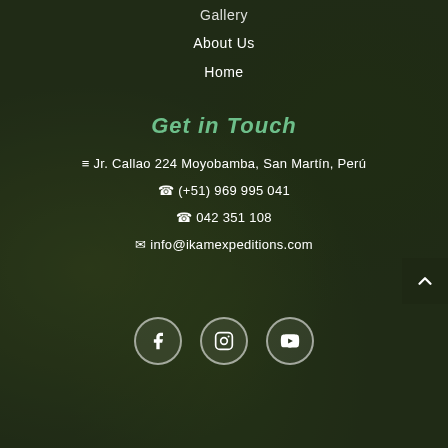Gallery
About Us
Home
Get in Touch
≡ Jr. Callao 224 Moyobamba, San Martín, Perú
☎ (+51) 969 995 041
☎ 042 351 108
✉ info@ikamexpeditions.com
[Figure (other): Social media icons: Facebook, Instagram, YouTube in circular outlines]